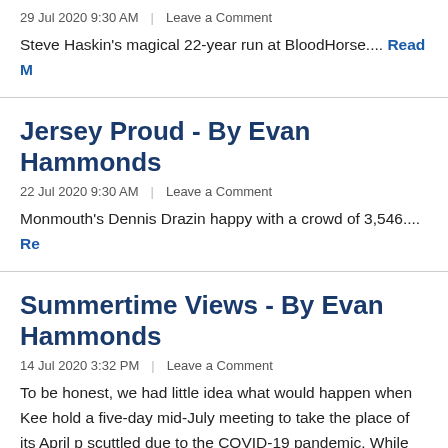29 Jul 2020 9:30 AM  |  Leave a Comment
Steve Haskin's magical 22-year run at BloodHorse.... Read M
Jersey Proud - By Evan Hammonds
22 Jul 2020 9:30 AM  |  Leave a Comment
Monmouth's Dennis Drazin happy with a crowd of 3,546.... Re
Summertime Views - By Evan Hammonds
14 Jul 2020 3:32 PM  |  Leave a Comment
To be honest, we had little idea what would happen when Kee hold a five-day mid-July meeting to take the place of its April p scuttled due to the COVID-19 pandemic. While hoping for the summer soiree, there appeared to be several obstacles in the Association pulled off an unforgettable stand. It's amazing...